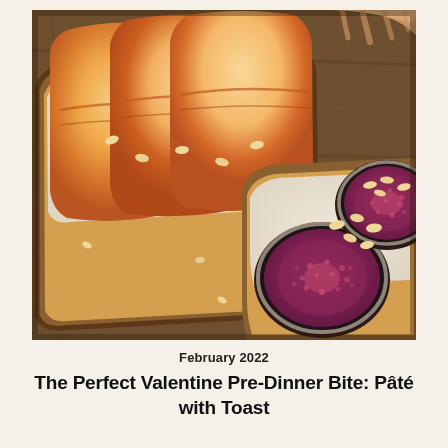[Figure (photo): Close-up food photography of toast slices on a wooden cutting board. One piece of toast is topped with white cream cheese and peach slices (showing yellow-orange flesh with a red blush near the pit area). Another piece of toast has white cream cheese topped with halved fresh figs (showing the deep purple-red interior with seeds) and scattered pine nuts. A person's hand is visible at the top reaching toward the toast. The background is a wooden board with scattered pine nuts.]
February 2022
The Perfect Valentine Pre-Dinner Bite: Pâté with Toast